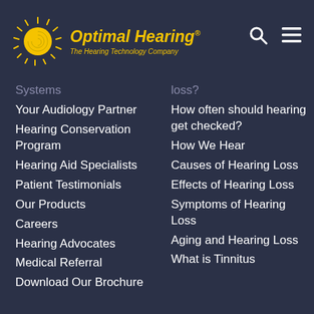[Figure (logo): Optimal Hearing logo with golden spiral/sun icon and text 'Optimal Hearing - The Hearing Technology Company']
Systems (partial, cut off)
Your Audiology Partner
Hearing Conservation Program
Hearing Aid Specialists
Patient Testimonials
Our Products
Careers
Hearing Advocates
Medical Referral
Download Our Brochure
loss? (partial, cut off)
How often should hearing get checked?
How We Hear
Causes of Hearing Loss
Effects of Hearing Loss
Symptoms of Hearing Loss
Aging and Hearing Loss
What is Tinnitus